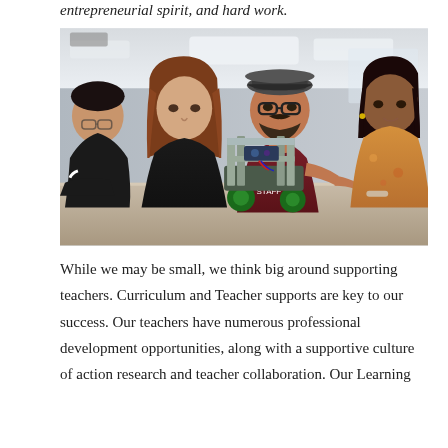entrepreneurial spirit, and hard work.
[Figure (photo): A teacher wearing a maroon 'NPSS STAFF' t-shirt and flat cap points at a small wheeled robot on a table while three students — two girls and a boy — lean in to watch and learn in a classroom setting.]
While we may be small, we think big around supporting teachers. Curriculum and Teacher supports are key to our success. Our teachers have numerous professional development opportunities, along with a supportive culture of action research and teacher collaboration. Our Learning...